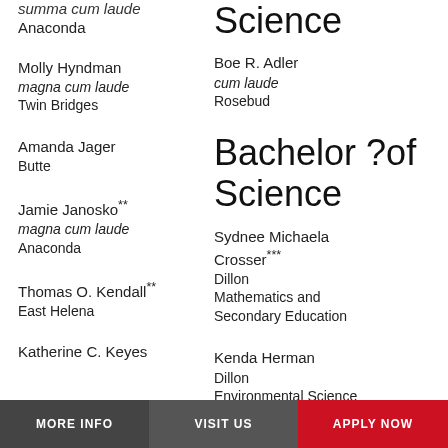summa cum laude
Anaconda
Molly Hyndman
magna cum laude
Twin Bridges
Amanda Jager
Butte
Jamie Janosko**
magna cum laude
Anaconda
Thomas O. Kendall**
East Helena
Katherine C. Keyes
Science
Boe R. Adler
cum laude
Rosebud
Bachelor ?of Science
Sydnee Michaela Crosser***
Dillon
Mathematics and Secondary Education
Kenda Herman
Dillon
Environmental Science
MORE INFO   VISIT US   APPLY NOW